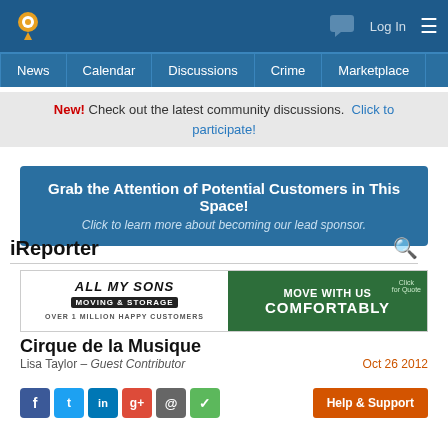Navigation: News | Calendar | Discussions | Crime | Marketplace
New! Check out the latest community discussions. Click to participate!
[Figure (infographic): Blue advertisement banner: Grab the Attention of Potential Customers in This Space! Click to learn more about becoming our lead sponsor.]
iReporter
[Figure (infographic): All My Sons Moving & Storage advertisement banner: MOVE WITH US COMFORTABLY. Click for Quote.]
Cirque de la Musique
Lisa Taylor – Guest Contributor
Oct 26 2012